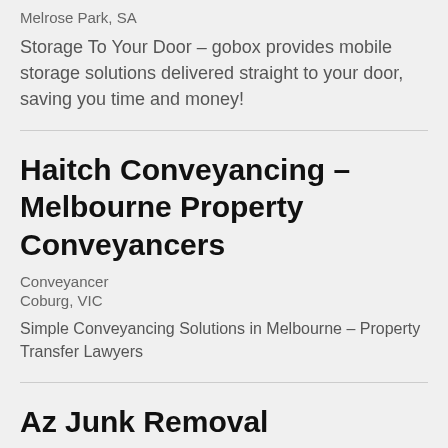Melrose Park, SA
Storage To Your Door – gobox provides mobile storage solutions delivered straight to your door, saving you time and money!
Haitch Conveyancing – Melbourne Property Conveyancers
Conveyancer
Coburg, VIC
Simple Conveyancing Solutions in Melbourne – Property Transfer Lawyers
Az Junk Removal